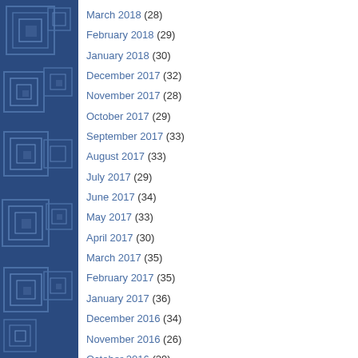[Figure (illustration): Dark blue sidebar with geometric square/rectangle pattern decoration]
March 2018 (28)
February 2018 (29)
January 2018 (30)
December 2017 (32)
November 2017 (28)
October 2017 (29)
September 2017 (33)
August 2017 (33)
July 2017 (29)
June 2017 (34)
May 2017 (33)
April 2017 (30)
March 2017 (35)
February 2017 (35)
January 2017 (36)
December 2016 (34)
November 2016 (26)
October 2016 (29)
September 2016 (29)
August 2016 (31)
July 2016 (33)
June 2016 (29)